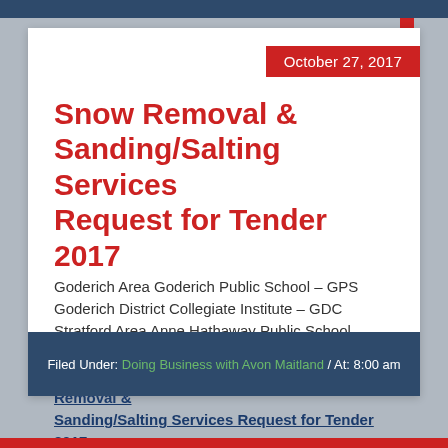October 27, 2017
Snow Removal & Sanding/Salting Services Request for Tender 2017
Goderich Area Goderich Public School – GPS Goderich District Collegiate Institute – GDC Stratford Area Anne Hathaway Public School – ANN Hamlet Public School – HAM Shakespeare Public School –… Read more about Snow Removal & Sanding/Salting Services Request for Tender 2017
Filed Under: Doing Business with Avon Maitland / At: 8:00 am